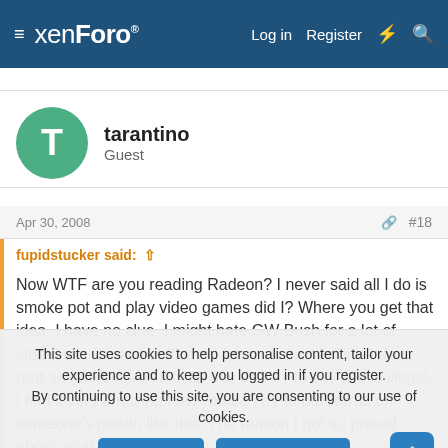≡ xenForo® Log in Register ⚡ 🔍
tarantino
Guest
Apr 30, 2008  #18
fupidstucker said: ↑

Now WTF are you reading Radeon? I never said all I do is smoke pot and play video games did I? Where you get that idea, I have no clue. I might hate GW Bush for a lot of stupid shit he did in office (at least in my opinion), I don't rant and rave about him all day and try to say war is illegal. I find it very amusing how you can try to put words on someone's mouth like this. The reason I got so pissed about what fuck head tarantino said is because it was a very racist remark... or
This site uses cookies to help personalise content, tailor your experience and to keep you logged in if you register.
By continuing to use this site, you are consenting to our use of cookies.